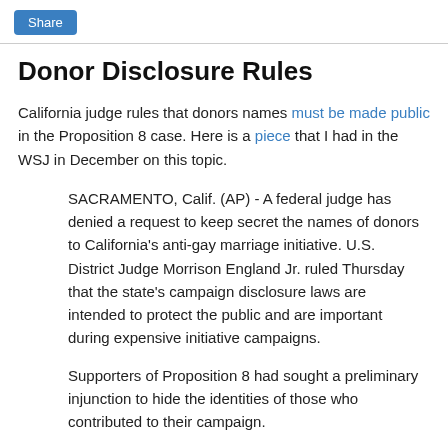Share
Donor Disclosure Rules
California judge rules that donors names must be made public in the Proposition 8 case. Here is a piece that I had in the WSJ in December on this topic.
SACRAMENTO, Calif. (AP) - A federal judge has denied a request to keep secret the names of donors to California's anti-gay marriage initiative. U.S. District Judge Morrison England Jr. ruled Thursday that the state's campaign disclosure laws are intended to protect the public and are important during expensive initiative campaigns.
Supporters of Proposition 8 had sought a preliminary injunction to hide the identities of those who contributed to their campaign.